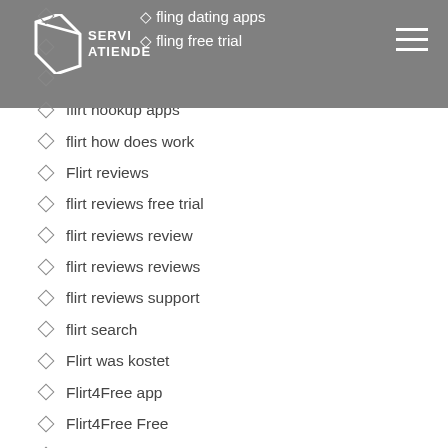fling dating apps | fling free trial
fling visitors
flingster review
Flirt dating site
flirt hookup apps
flirt how does work
Flirt reviews
flirt reviews free trial
flirt reviews review
flirt reviews reviews
flirt reviews support
flirt search
Flirt was kostet
Flirt4Free app
Flirt4Free Free
Flirt4Free Live